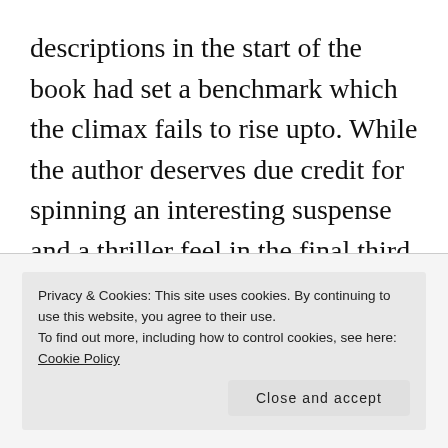descriptions in the start of the book had set a benchmark which the climax fails to rise upto. While the author deserves due credit for spinning an interesting suspense and a thriller feel in the final third of the book, resolving it all by simple divine intervention somehow made it rushed and lackluster for me.
Privacy & Cookies: This site uses cookies. By continuing to use this website, you agree to their use.
To find out more, including how to control cookies, see here: Cookie Policy